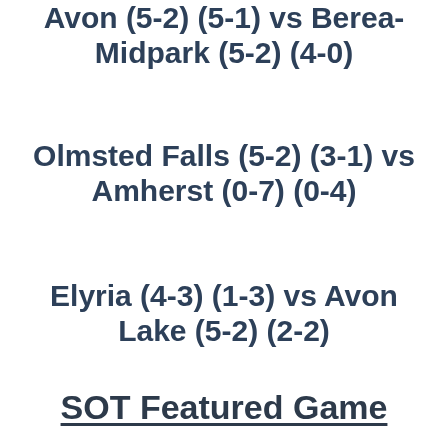Avon (5-2) (5-1) vs Berea-Midpark (5-2) (4-0)
Olmsted Falls (5-2) (3-1) vs Amherst (0-7) (0-4)
Elyria (4-3) (1-3) vs Avon Lake (5-2) (2-2)
SOT Featured Game